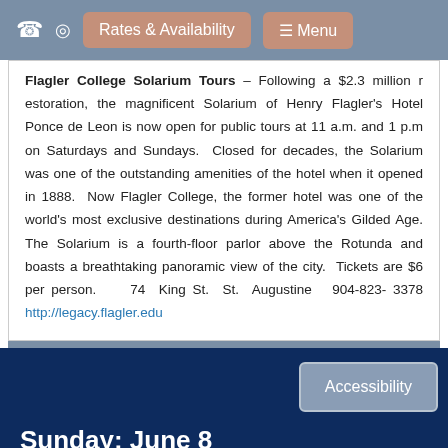Rates & Availability  ☰ Menu
Flagler College Solarium Tours – Following a $2.3 million restoration, the magnificent Solarium of Henry Flagler's Hotel Ponce de Leon is now open for public tours at 11 a.m. and 1 p.m on Saturdays and Sundays. Closed for decades, the Solarium was one of the outstanding amenities of the hotel when it opened in 1888. Now Flagler College, the former hotel was one of the world's most exclusive destinations during America's Gilded Age. The Solarium is a fourth-floor parlor above the Rotunda and boasts a breathtaking panoramic view of the city. Tickets are $6 per person. 74 King St. St. Augustine 904-823-3378 http://legacy.flagler.edu
Sunday: June 8